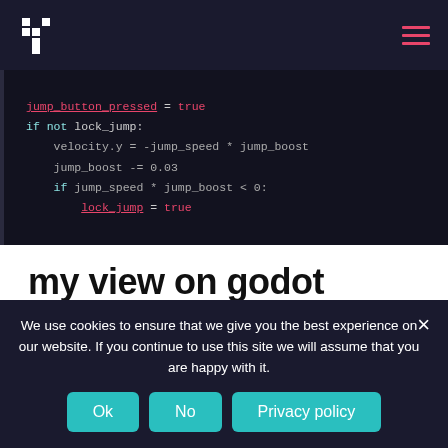my view on godot — site navigation header with logo and hamburger menu
[Figure (screenshot): Code editor screenshot showing GDScript code with lines: jump_button_pressed = true, if not lock_jump:, velocity.y = -jump_speed * jump_boost, jump_boost -= 0.03, if jump_speed * jump_boost < 0:, lock_jump = true]
my view on godot
Godot / By Marcel / 12. April 2020
a brief history on how I got to know godot I am not as long "in the field" as I would like to be. My knowledge of
We use cookies to ensure that we give you the best experience on our website. If you continue to use this site we will assume that you are happy with it.